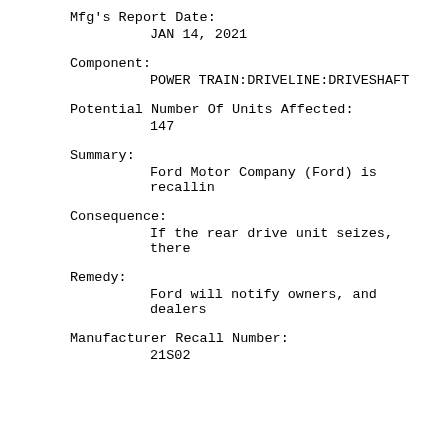Mfg's Report Date:
JAN 14, 2021
Component:
POWER TRAIN:DRIVELINE:DRIVESHAFT
Potential Number Of Units Affected:
147
Summary:
Ford Motor Company (Ford) is recallin
Consequence:
If the rear drive unit seizes, there
Remedy:
Ford will notify owners, and dealers
Manufacturer Recall Number:
21S02